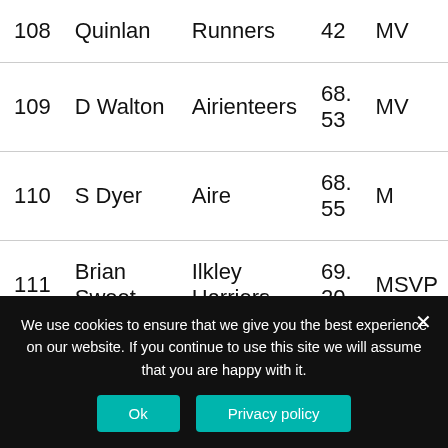| # | Name | Club | Time | Cat |
| --- | --- | --- | --- | --- |
| 108 | Quinlan | Runners | 42 | MV |
| 109 | D Walton | Airienteers | 68.
53 | MV |
| 110 | S Dyer | Aire | 68.
55 | M |
| 111 | Brian Sweet | Ilkley Harriers | 69.
20 | MSVP |
| 112 | Robert Adamson | Bingley Harriers | 71.
40 | MV |
We use cookies to ensure that we give you the best experience on our website. If you continue to use this site we will assume that you are happy with it.